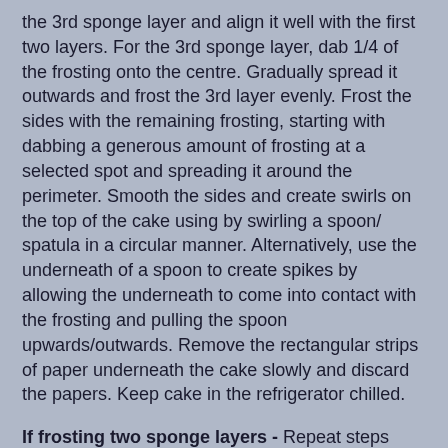the 3rd sponge layer and align it well with the first two layers. For the 3rd sponge layer, dab 1/4 of the frosting onto the centre. Gradually spread it outwards and frost the 3rd layer evenly. Frost the sides with the remaining frosting, starting with dabbing a generous amount of frosting at a selected spot and spreading it around the perimeter. Smooth the sides and create swirls on the top of the cake using by swirling a spoon/ spatula in a circular manner. Alternatively, use the underneath of a spoon to create spikes by allowing the underneath to come into contact with the frosting and pulling the spoon upwards/outwards. Remove the rectangular strips of paper underneath the cake slowly and discard the papers. Keep cake in the refrigerator chilled.
If frosting two sponge layers - Repeat steps above and use 1/3 frosting for the 1st layer, 1/3 frosting for 2nd layer and 1/3 frosting for the sides.
Notes:
1) Allow chilled cake to soften at room temperature for 10-15 minutes before serving.
2) Keep cake in an air-tight container after slicing to prevent